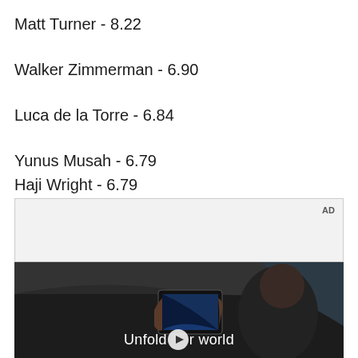Matt Turner - 8.22
Walker Zimmerman - 6.90
Luca de la Torre - 6.84
Yunus Musah - 6.79
Haji Wright - 6.79
[Figure (screenshot): Advertisement placeholder box with 'AD' label in top right corner, followed by a dark video frame showing a person in a car holding a phone with text 'Unfold your world' and a play button overlay]